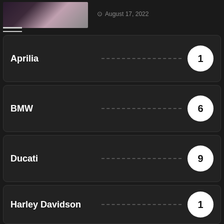August 17, 2022
Aprilia 1
BMW 6
Ducati 9
Harley Davidson 1